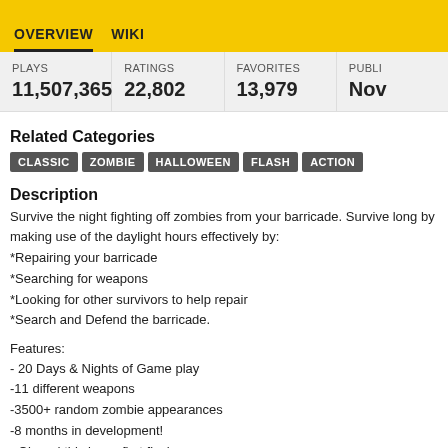OVERVIEW   WIKI
| PLAYS | RATINGS | FAVORITES | PUBLI... |
| --- | --- | --- | --- |
| 11,507,365 | 22,802 | 13,979 | Nov... |
Related Categories
CLASSIC   ZOMBIE   HALLOWEEN   FLASH   ACTION
Description
Survive the night fighting off zombies from your barricade. Survive long by making use of the daylight hours effectively by:
*Repairing your barricade
*Searching for weapons
*Looking for other survivors to help repair
*Search and Defend the barricade.
Features:
- 20 Days & Nights of Game play
-11 different weapons
-3500+ random zombie appearances
-8 months in development!
- Oh and this is my first flash game…